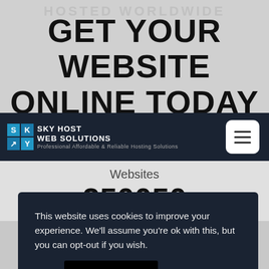HOSTED WORLDWIDE
GET YOUR WEBSITE ONLINE TODAY
[Figure (logo): Sky Host Web Solutions logo with colored grid icon and company name text]
Websites
250050
This website uses cookies to improve your experience. We'll assume you're ok with this, but you can opt-out if you wish.
Cookie settings
ACCEPT